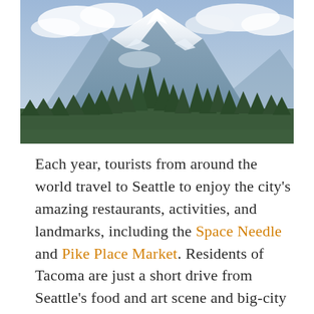[Figure (photo): Photograph of a snow-capped mountain (Mount Rainier) with evergreen trees in the foreground and a blue sky with clouds in the background.]
Each year, tourists from around the world travel to Seattle to enjoy the city's amazing restaurants, activities, and landmarks, including the Space Needle and Pike Place Market. Residents of Tacoma are just a short drive from Seattle's food and art scene and big-city attractions. But you don't have to drive up to Seattle to experience fantastic food, art, and culture. Tacoma has a lot to offer